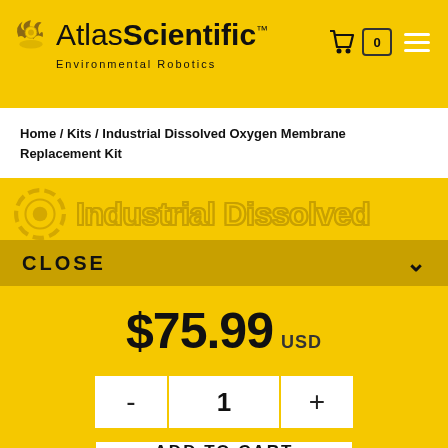Atlas Scientific Environmental Robotics
Home / Kits / Industrial Dissolved Oxygen Membrane Replacement Kit
Industrial Dissolved
CLOSE
$75.99 USD
- 1 +
ADD TO CART